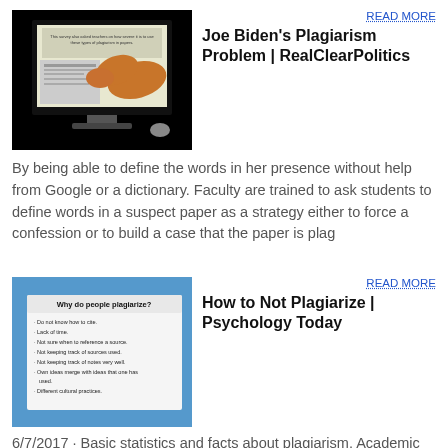[Figure (screenshot): Screenshot of a plagiarism-themed image showing a person reaching through a computer screen to copy papers, with survey text overlay about severity of plagiarism types]
READ MORE
Joe Biden's Plagiarism Problem | RealClearPolitics
By being able to define the words in her presence without help from Google or a dictionary. Faculty are trained to ask students to define words in a suspect paper as a strategy either to force a confession or to build a case that the paper is plag
[Figure (screenshot): Screenshot of a slide titled 'Why do people plagiarize?' listing bullet points: Do not know how to cite, Lack of time, Not sure when to reference a source, Not keeping track of sources used, Not keeping track of notes very well, Own ideas merge with ideas that one has used, Different cultural practices]
READ MORE
How to Not Plagiarize | Psychology Today
6/7/2017 · Basic statistics and facts about plagiarism. Academic Integrity in High School. The Josephson Institute Center for Youth Ethics surveyed 43,000